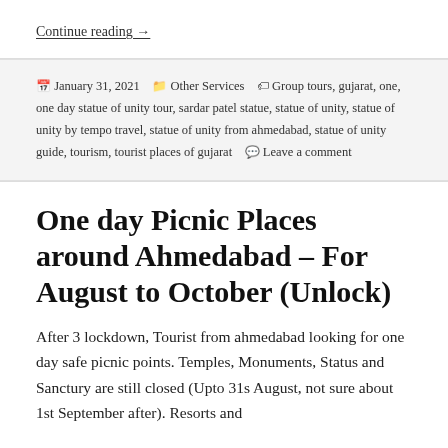Continue reading →
January 31, 2021   Other Services   Group tours, gujarat, one, one day statue of unity tour, sardar patel statue, statue of unity, statue of unity by tempo travel, statue of unity from ahmedabad, statue of unity guide, tourism, tourist places of gujarat   Leave a comment
One day Picnic Places around Ahmedabad – For August to October (Unlock)
After 3 lockdown, Tourist from ahmedabad looking for one day safe picnic points. Temples, Monuments, Status and Sanctury are still closed (Upto 31s August, not sure about 1st September after). Resorts and